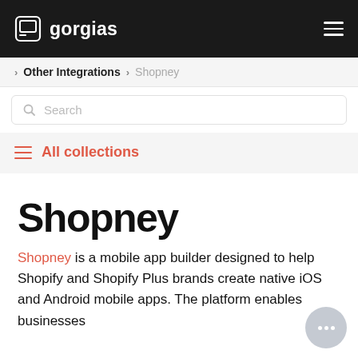gorgias
Other Integrations > Shopney
Search
All collections
Shopney
Shopney is a mobile app builder designed to help Shopify and Shopify Plus brands create native iOS and Android mobile apps. The platform enables businesses